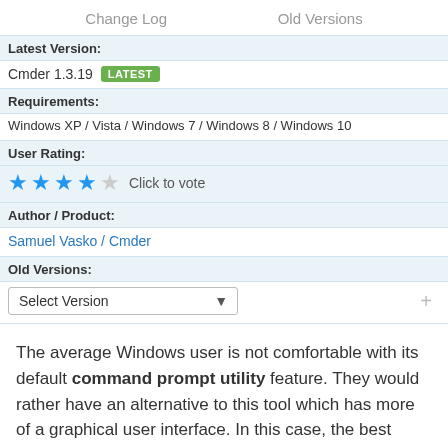Change Log    Old Versions
Latest Version:
Cmder 1.3.19  LATEST
Requirements:
Windows XP / Vista / Windows 7 / Windows 8 / Windows 10
User Rating:
★★★★☆  Click to vote
Author / Product:
Samuel Vasko / Cmder
Old Versions:
Select Version
The average Windows user is not comfortable with its default command prompt utility feature. They would rather have an alternative to this tool which has more of a graphical user interface. In this case, the best choice is the console emulator known as Cmder.